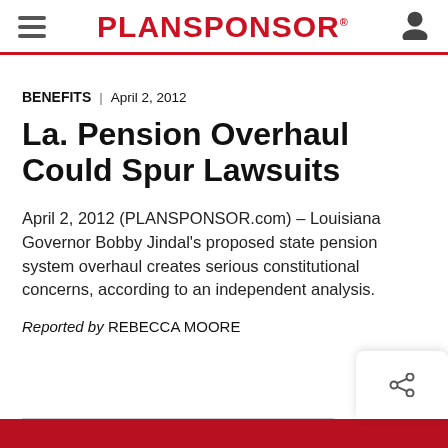PLANSPONSOR
BENEFITS | April 2, 2012
La. Pension Overhaul Could Spur Lawsuits
April 2, 2012 (PLANSPONSOR.com) – Louisiana Governor Bobby Jindal's proposed state pension system overhaul creates serious constitutional concerns, according to an independent analysis.
Reported by REBECCA MOORE